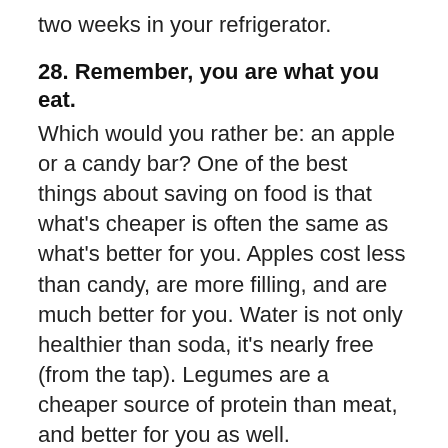two weeks in your refrigerator.
28. Remember, you are what you eat.
Which would you rather be: an apple or a candy bar? One of the best things about saving on food is that what's cheaper is often the same as what's better for you. Apples cost less than candy, are more filling, and are much better for you. Water is not only healthier than soda, it's nearly free (from the tap). Legumes are a cheaper source of protein than meat, and better for you as well.
Plus: Secret Grocery Shopping Tips You Need to Know
Pos...Mi...